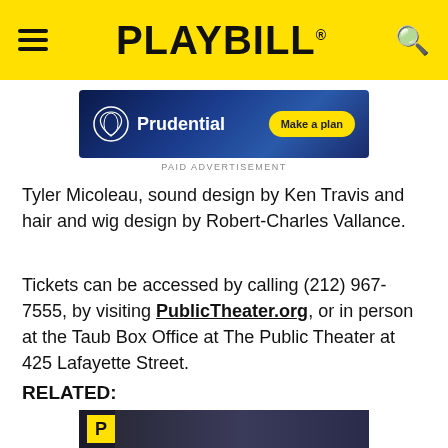PLAYBILL
[Figure (screenshot): Prudential advertisement banner with logo and 'Make a plan' button on dark blue background]
PAID ADVERTISEMENT
Tyler Micoleau, sound design by Ken Travis and hair and wig design by Robert-Charles Vallance.
Tickets can be accessed by calling (212) 967-7555, by visiting PublicTheater.org, or in person at the Taub Box Office at The Public Theater at 425 Lafayette Street.
RELATED:
[Figure (photo): Photo of performers on stage with a yellow Playbill 'P' badge in the lower left corner]